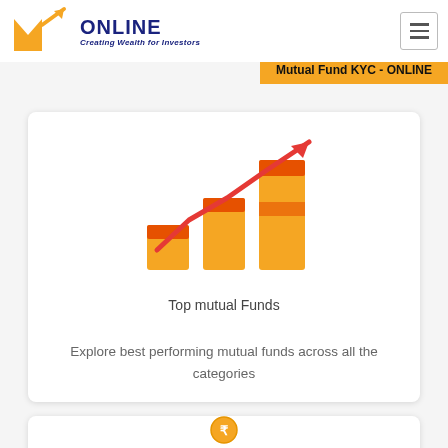[Figure (logo): MF Online logo with orange M and arrow icon and dark blue ONLINE text and tagline Creating Wealth for Investors]
[Figure (other): Hamburger menu icon (three horizontal lines) in a bordered box]
Mutual Fund KYC - ONLINE
[Figure (infographic): Bar chart graphic with three ascending golden/orange bars and a red upward trending arrow above them, labeled Top mutual Funds]
Top mutual Funds
Explore best performing mutual funds across all the categories
[Figure (illustration): Partial illustration at bottom showing a coin with rupee symbol and orange hand/piggy bank]